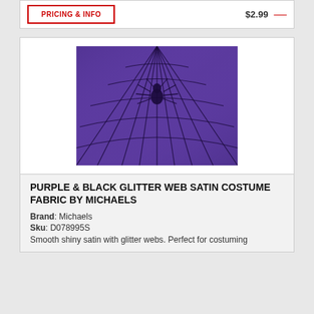PRICING & INFO | $2.99 | [old price crossed out]
[Figure (photo): Purple satin fabric with black glitter spider web pattern and a spider in the center]
PURPLE & BLACK GLITTER WEB SATIN COSTUME FABRIC BY MICHAELS
Brand: Michaels
Sku: D078995S
Smooth shiny satin with glitter webs. Perfect for costuming...